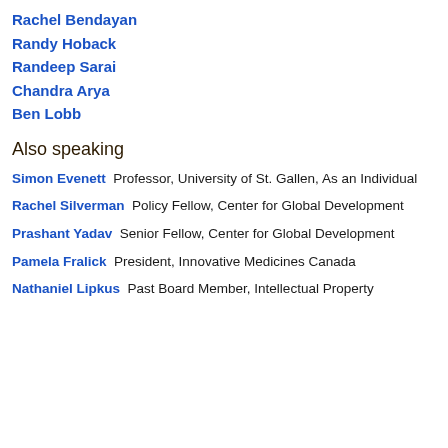Rachel Bendayan
Randy Hoback
Randeep Sarai
Chandra Arya
Ben Lobb
Also speaking
Simon Evenett  Professor, University of St. Gallen, As an Individual
Rachel Silverman  Policy Fellow, Center for Global Development
Prashant Yadav  Senior Fellow, Center for Global Development
Pamela Fralick  President, Innovative Medicines Canada
Nathaniel Lipkus  Past Board Member, Intellectual Property